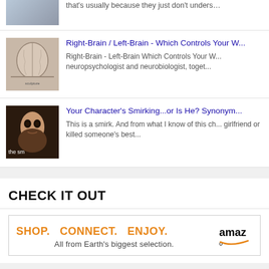that's usually because they just don't understa...
Right-Brain / Left-Brain - Which Controls Your V...
Right-Brain - Left-Brain Which Controls Your W... neuropsychologist and neurobiologist, toget...
Your Character's Smirking...or Is He? Synonym...
This is a smirk. And from what I know of this ch... girlfriend or killed someone's best...
CHECK IT OUT
[Figure (screenshot): Amazon advertisement banner: SHOP. CONNECT. ENJOY. All from Earth's biggest selection. with Amazon logo.]